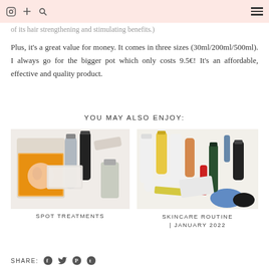Navigation bar with Instagram, plus, and search icons on left; hamburger menu on right
of its hair strengthening and stimulating benefits.)
Plus, it's a great value for money. It comes in three sizes (30ml/200ml/500ml). I always go for the bigger pot which only costs 9.5€! It's an affordable, effective and quality product.
YOU MAY ALSO ENJOY:
[Figure (photo): Flat lay of skincare and beauty products including spot treatment packaging]
SPOT TREATMENTS
[Figure (photo): Flat lay of various skincare bottles, serums, oils and cream products]
SKINCARE ROUTINE | JANUARY 2022
SHARE: